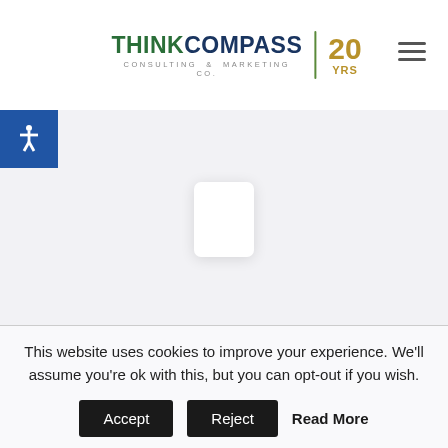THINKCOMPASS CONSULTING & MARKETING CO. | 20 YRS
[Figure (logo): ThinkCompass Consulting & Marketing Co. logo with 20 Years anniversary badge]
[Figure (illustration): White rounded rectangle card on light gray background, center of page]
This website uses cookies to improve your experience. We'll assume you're ok with this, but you can opt-out if you wish.
Accept  Reject  Read More